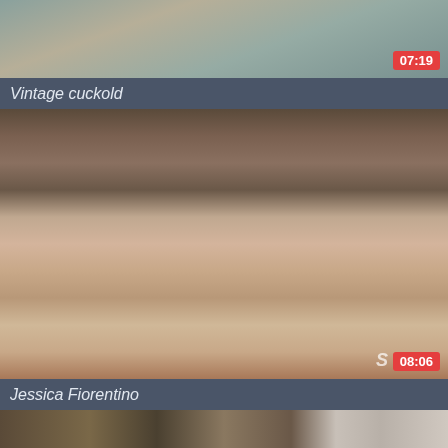[Figure (photo): Video thumbnail - cropped top portion of a video, with duration badge 07:19 in red at bottom right]
Vintage cuckold
[Figure (photo): Video thumbnail showing an older man in suit and tie with a younger dark-haired woman in a gray dress, sitting together. Duration badge 08:06 in red at bottom right. Watermark 'S' visible.]
Jessica Fiorentino
[Figure (photo): Video thumbnail showing multiple people in what appears to be an indoor scene, partially cut off at bottom of page]